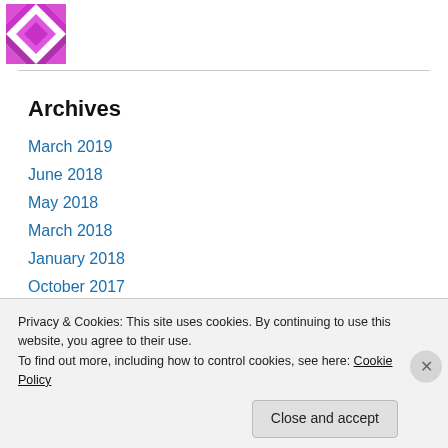[Figure (logo): Purple and magenta geometric quilt-pattern logo icon]
Archives
March 2019
June 2018
May 2018
March 2018
January 2018
October 2017
August 2017
June 2017
Privacy & Cookies: This site uses cookies. By continuing to use this website, you agree to their use.
To find out more, including how to control cookies, see here: Cookie Policy
Close and accept